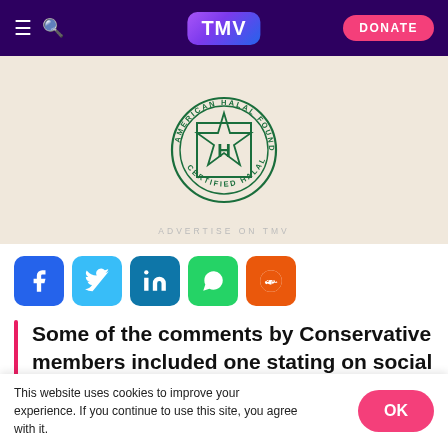TMV — navigation bar with hamburger, search, TMV logo, and DONATE button
[Figure (logo): American Halal Foundation Certified Halal seal — circular green stamp with star and H inside a square, on beige background]
ADVERTISE ON TMV
[Figure (infographic): Social share buttons: Facebook, Twitter, LinkedIn, WhatsApp, Reddit]
Some of the comments by Conservative members included one stating on social media: “no Muslim will get my vote”, while
This website uses cookies to improve your experience. If you continue to use this site, you agree with it.